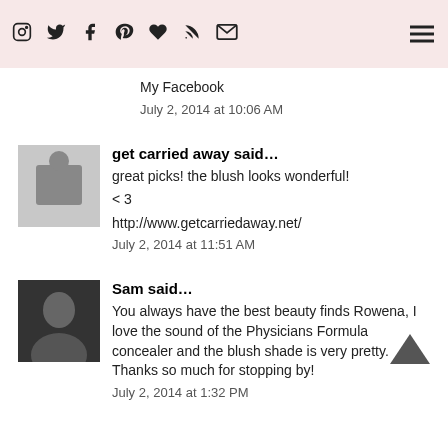Social media icons and navigation header
My Facebook
July 2, 2014 at 10:06 AM
get carried away said...
great picks! the blush looks wonderful!

< 3
http://www.getcarriedaway.net/
July 2, 2014 at 11:51 AM
Sam said...
You always have the best beauty finds Rowena, I love the sound of the Physicians Formula concealer and the blush shade is very pretty. Thanks so much for stopping by!
July 2, 2014 at 1:32 PM